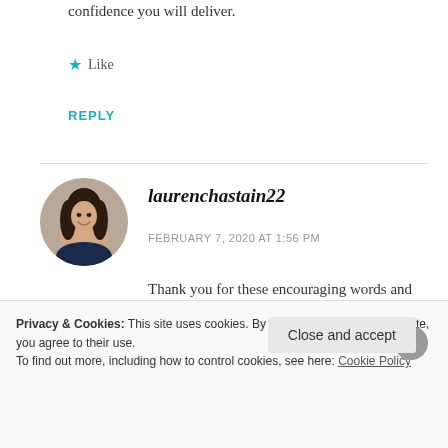confidence you will deliver.
Like
REPLY
[Figure (photo): Circular profile photo of laurenchastain22, a woman with dark hair]
laurenchastain22
FEBRUARY 7, 2020 AT 1:56 PM
Thank you for these encouraging words and your kindness all along the way!
Privacy & Cookies: This site uses cookies. By continuing to use this website, you agree to their use.
To find out more, including how to control cookies, see here: Cookie Policy